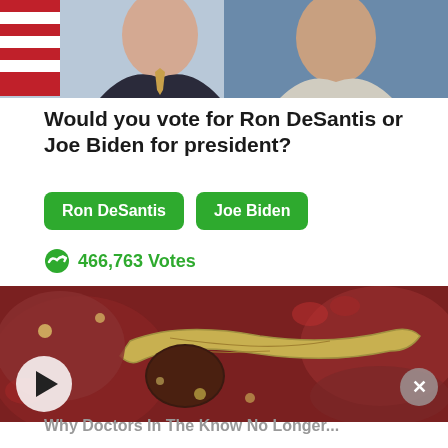[Figure (photo): Two headshot photos side by side: a man in a suit with an American flag on the left, and a man in a light-colored shirt on the right.]
Would you vote for Ron DeSantis or Joe Biden for president?
Ron DeSantis  Joe Biden
466,763 Votes
[Figure (photo): Medical illustration of internal organs (pancreas and surrounding abdominal organs) with a video play button overlay.]
Why Doctors In The Know No Longer Recommend...